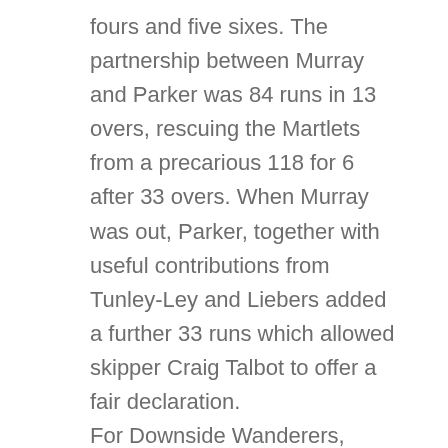fours and five sixes. The partnership between Murray and Parker was 84 runs in 13 overs, rescuing the Martlets from a precarious 118 for 6 after 33 overs. When Murray was out, Parker, together with useful contributions from Tunley-Ley and Liebers added a further 33 runs which allowed skipper Craig Talbot to offer a fair declaration. For Downside Wanderers, openers W Kirkpatrick (22) and W Church (32) put on 69 for first wicket, but despite useful innings from H Monro (20) and B Parks (19) the innings subsided to 160 for 9 before D Walker (37) and O Thickness (23) put together a last-wicket stand of 56. For the Martlets, W